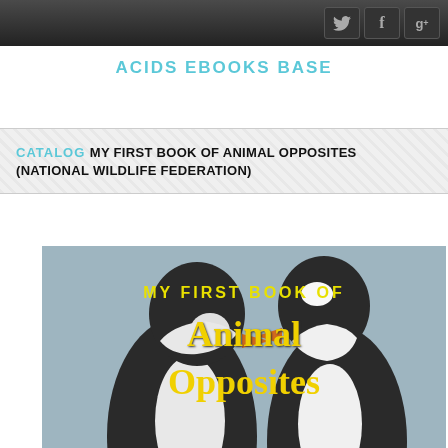ACIDS EBOOKS BASE — navigation bar with Twitter, Facebook, Google+ icons
ACIDS EBOOKS BASE
CATALOG MY FIRST BOOK OF ANIMAL OPPOSITES (NATIONAL WILDLIFE FEDERATION)
[Figure (photo): Book cover of 'My First Book of Animal Opposites' by National Wildlife Federation, showing two penguins facing each other on a grey background with yellow title text.]